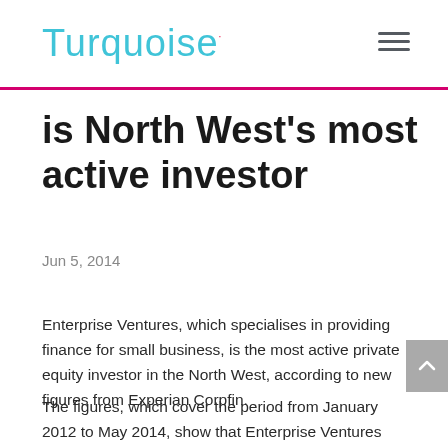Turquoise
is North West's most active investor
Jun 5, 2014
Enterprise Ventures, which specialises in providing finance for small business, is the most active private equity investor in the North West, according to new figures from Experian Corpfin.
The figures, which cover the period from January 2012 to May 2014, show that Enterprise Ventures comes in first place out of a list of 100 investors, in